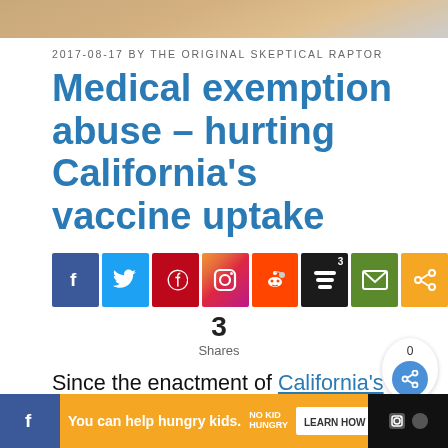2017-08-17 BY THE ORIGINAL SKEPTICAL RAPTOR
Medical exemption abuse – hurting California's vaccine uptake
[Figure (infographic): Social sharing icons row: Facebook (blue), Twitter (light blue), Pinterest (red), Instagram (gradient), Reddit (orange), Buffer with count 3 (black), Email (green), Share (orange)]
3
Shares
Since the enactment of California's SB277, which prevents parents from
[Figure (infographic): Advertisement banner: orange background with text 'You can help hungry kids.' No Kid Hungry logo and LEARN HOW button. Close X button. Left side Facebook icon bar. Right side social media icons.]